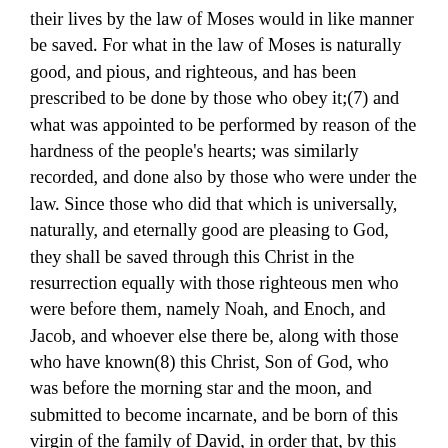their lives by the law of Moses would in like manner be saved. For what in the law of Moses is naturally good, and pious, and righteous, and has been prescribed to be done by those who obey it;(7) and what was appointed to be performed by reason of the hardness of the people's hearts; was similarly recorded, and done also by those who were under the law. Since those who did that which is universally, naturally, and eternally good are pleasing to God, they shall be saved through this Christ in the resurrection equally with those righteous men who were before them, namely Noah, and Enoch, and Jacob, and whoever else there be, along with those who have known(8) this Christ, Son of God, who was before the morning star and the moon, and submitted to become incarnate, and be born of this virgin of the family of David, in order that, by this dispensation, the serpent that sinned from the beginning, and the angels like him, may be destroyed, and that death may be contemned, and for ever quit, at the second coming of the Christ Himself, those who believe in Him and live acceptably,--and be no more: when some are sent to be punished unceasingly into judgment and condemnation of fire; but others shall exist in